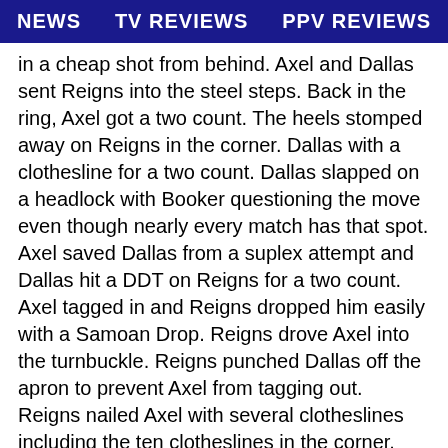NEWS   TV REVIEWS   PPV REVIEWS
in a cheap shot from behind. Axel and Dallas sent Reigns into the steel steps. Back in the ring, Axel got a two count. The heels stomped away on Reigns in the corner. Dallas with a clothesline for a two count. Dallas slapped on a headlock with Booker questioning the move even though nearly every match has that spot. Axel saved Dallas from a suplex attempt and Dallas hit a DDT on Reigns for a two count. Axel tagged in and Reigns dropped him easily with a Samoan Drop. Reigns drove Axel into the turnbuckle. Reigns punched Dallas off the apron to prevent Axel from tagging out. Reigns nailed Axel with several clotheslines including the ten clotheslines in the corner. Dallas got in there and then they did a spot where Dallas spiked Axel with a
DDT as Reigns kicked Dallas. That was unique. Miz on the apron. Reigns clothesline sent Dallas out of